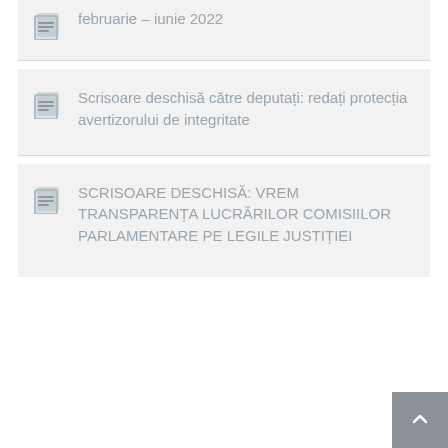februarie – iunie 2022
Scrisoare deschisă către deputați: redați protecția avertizorului de integritate
SCRISOARE DESCHISĂ: VREM TRANSPARENȚA LUCRĂRILOR COMISIILOR PARLAMENTARE PE LEGILE JUSTIȚIEI